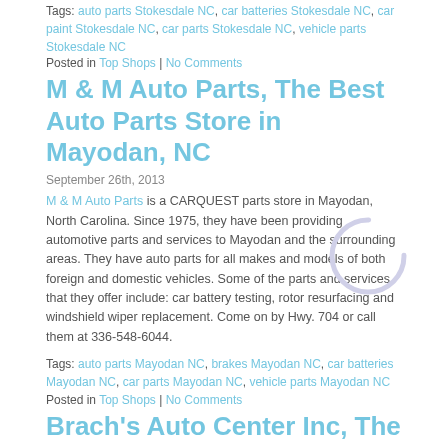Tags: auto parts Stokesdale NC, car batteries Stokesdale NC, car paint Stokesdale NC, car parts Stokesdale NC, vehicle parts Stokesdale NC
Posted in Top Shops | No Comments
M & M Auto Parts, The Best Auto Parts Store in Mayodan, NC
September 26th, 2013
M & M Auto Parts is a CARQUEST parts store in Mayodan, North Carolina. Since 1975, they have been providing automotive parts and services to Mayodan and the surrounding areas. They have auto parts for all makes and models of both foreign and domestic vehicles. Some of the parts and services that they offer include: car battery testing, rotor resurfacing and windshield wiper replacement. Come on by Hwy. 704 or call them at 336-548-6044.
Tags: auto parts Mayodan NC, brakes Mayodan NC, car batteries Mayodan NC, car parts Mayodan NC, vehicle parts Mayodan NC
Posted in Top Shops | No Comments
Brach's Auto Center Inc, The #1 Auto Repair Center In Chicago, IL
September 24th, 2013
Brach's Auto Center Inc provides the best auto repair services in Chicago, IL. If you are looking for an auto repair shop with high tech equipment, modern technology, certified training, and an auto a/c specialist, look no further than 10333 South Western Ave. Their certified ASE technicians are dedicated to making sure your automobile is fixed...